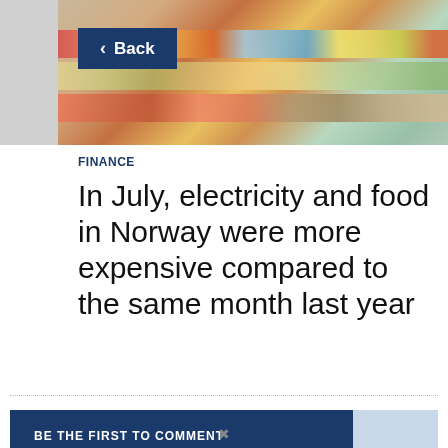[Figure (photo): Grocery store shelves with food products, viewed from above/side angle showing colorful packaged goods]
< Back
FINANCE
In July, electricity and food in Norway were more expensive compared to the same month last year
BE THE FIRST TO COMMENT